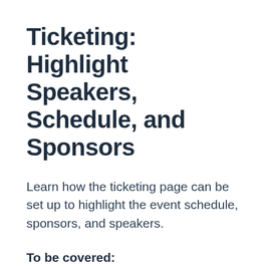Ticketing: Highlight Speakers, Schedule, and Sponsors
Learn how the ticketing page can be set up to highlight the event schedule, sponsors, and speakers.
To be covered:
Intro
Appearance and content linked with admin panel